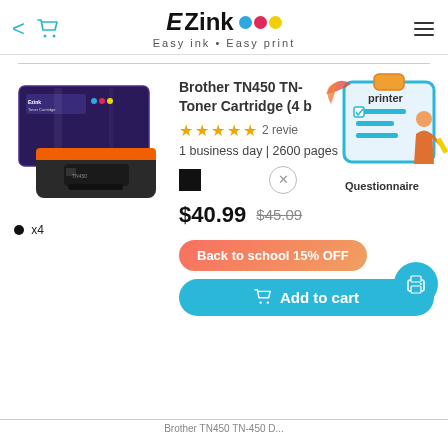EZink – Easy ink · Easy print
[Figure (photo): Brother TN450 toner cartridge with purple box and black toner unit]
Brother TN450 TN- Toner Cartridge (4 b...
★★★★★ 2 revie...
1 business day | 2600 pages
$40.99 $45.09
Back to school 15% OFF
Add to cart
[Figure (illustration): Questionnaire popup with clipboard illustration and person writing]
Brother TN450 TN-450 D...